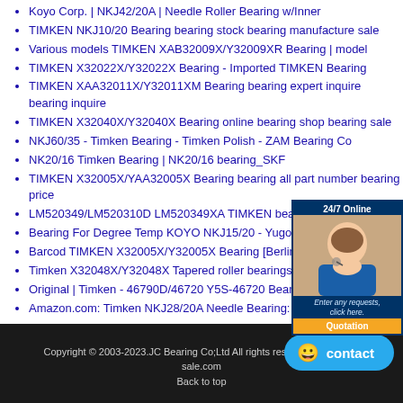Koyo Corp. | NKJ42/20A | Needle Roller Bearing w/Inner
TIMKEN NKJ10/20 Bearing bearing stock bearing manufacture sale
Various models TIMKEN XAB32009X/Y32009XR Bearing | model
TIMKEN X32022X/Y32022X Bearing - Imported TIMKEN Bearing
TIMKEN XAA32011X/Y32011XM Bearing bearing expert inquire bearing inquire
TIMKEN X32040X/Y32040X Bearing online bearing shop bearing sale
NKJ60/35 - Timken Bearing - Timken Polish - ZAM Bearing Co
NK20/16 Timken Bearing | NK20/16 bearing_SKF
TIMKEN X32005X/YAA32005X Bearing bearing all part number bearing price
LM520349/LM520310D LM520349XA TIMKEN bearing - Trade
Bearing For Degree Temp KOYO NKJ15/20 - Yugoslavia
Barcod TIMKEN X32005X/Y32005X Bearing [Berlin
Timken X32048X/Y32048X Tapered roller bearings X32048X
Original | Timken - 46790D/46720 Y5S-46720 Bearing's
Amazon.com: Timken NKJ28/20A Needle Bearing:
Copyright © 2003-2023.JC Bearing Co;Ltd All rights reserved. | bearing-sale.com
Back to top